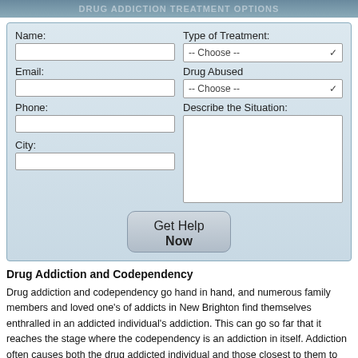Drug Addiction Treatment Options
[Figure (screenshot): Web form with fields: Name, Email, Phone, City, Type of Treatment (dropdown), Drug Abused (dropdown), Describe the Situation (textarea), and a Get Help Now button]
Drug Addiction and Codependency
Drug addiction and codependency go hand in hand, and numerous family members and loved one's of addicts in New Brighton find themselves enthralled in an addicted individual's addiction. This can go so far that it reaches the stage where the codependency is an addiction in itself. Addiction often causes both the drug addicted individual and those closest to them to develop these unhealthy codependent relationships, which can lead to great emotional pain and eventually ruin these relationships entirely. Codependency can be challenging to recover from, particularly when those affected forget how to function normally in the relationship and become absolutely absorbed in drug